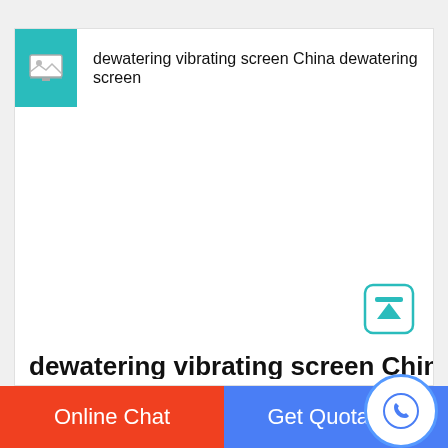dewatering vibrating screen China dewatering screen
[Figure (screenshot): Large empty white content area of a webpage]
dewatering vibrating screen China dew
Online Chat
Get Quotation